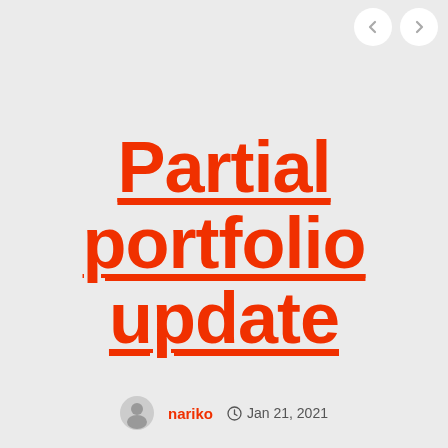[Figure (other): Navigation arrow icons (left and right) in circular white buttons at top right]
Partial portfolio update
nariko  Jan 21, 2021